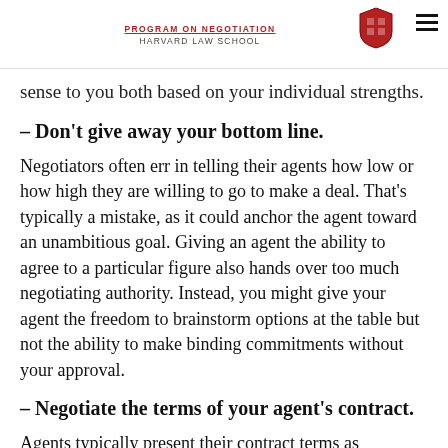PROGRAM ON NEGOTIATION HARVARD LAW SCHOOL
sense to you both based on your individual strengths.
– Don't give away your bottom line.
Negotiators often err in telling their agents how low or how high they are willing to go to make a deal. That's typically a mistake, as it could anchor the agent toward an unambitious goal. Giving an agent the ability to agree to a particular figure also hands over too much negotiating authority. Instead, you might give your agent the freedom to brainstorm options at the table but not the ability to make binding commitments without your approval.
– Negotiate the terms of your agent's contract.
Agents typically present their contract terms as standard, but that doesn't mean they're non-